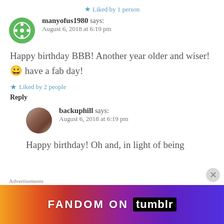★ Liked by 1 person
manyofus1980 says:
August 6, 2018 at 6:19 pm
Happy birthday BBB! Another year older and wiser! 😀 have a fab day!
★ Liked by 2 people
Reply
backuphill says:
August 6, 2018 at 6:19 pm
Happy birthday! Oh and, in light of being
Advertisements
[Figure (infographic): Fandom on Tumblr advertisement banner with colorful gradient background and white/black text]